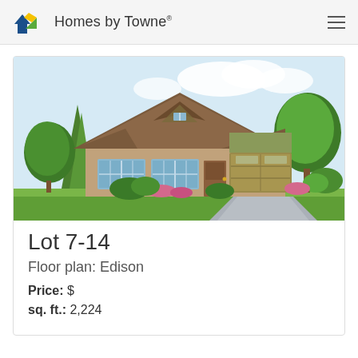Homes by Towne
[Figure (illustration): Architectural rendering of a single-story brick home with gabled roof, two-car garage, large windows, and landscaping including trees and flowering shrubs]
Lot 7-14
Floor plan: Edison
Price: $
sq. ft.: 2,224